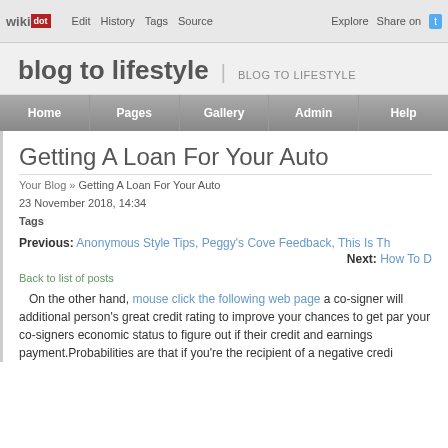wikidot | Edit | History | Tags | Source | Explore | Share on
blog to lifestyle | BLOG TO LIFESTYLE
Home | Pages | Gallery | Admin | Help
Getting A Loan For Your Auto
Your Blog » Getting A Loan For Your Auto
23 November 2018, 14:34
Tags
Previous: Anonymous Style Tips, Peggy's Cove Feedback, This Is Th
Next: How To D
Back to list of posts
On the other hand, mouse click the following web page a co-signer will additional person's great credit rating to improve your chances to get par your co-signers economic status to figure out if their credit and earnings payment.Probabilities are that if you're the recipient of a negative credi